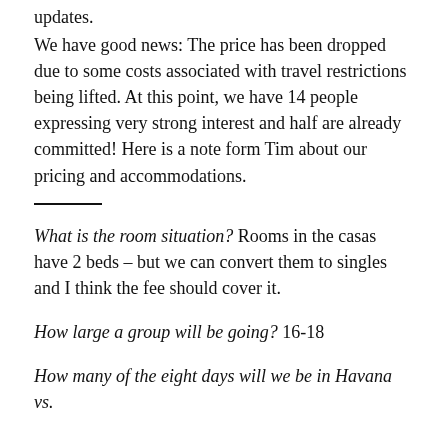updates.
We have good news: The price has been dropped due to some costs associated with travel restrictions being lifted. At this point, we have 14 people expressing very strong interest and half are already committed! Here is a note form Tim about our pricing and accommodations.
———
What is the room situation? Rooms in the casas have 2 beds – but we can convert them to singles and I think the fee should cover it.
How large a group will be going? 16-18
How many of the eight days will we be in Havana vs.